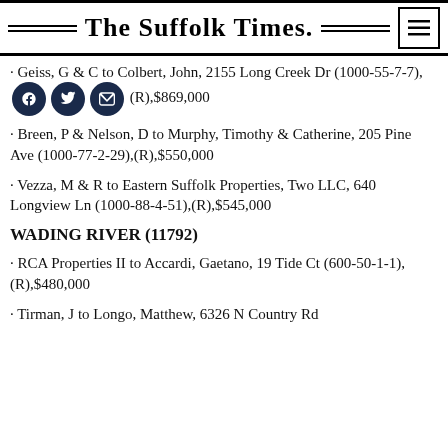The Suffolk Times.
Geiss, G & C to Colbert, John, 2155 Long Creek Dr (1000-55-7-7), (R), $869,000
Breen, P & Nelson, D to Murphy, Timothy & Catherine, 205 Pine Ave (1000-77-2-29), (R), $550,000
Vezza, M & R to Eastern Suffolk Properties, Two LLC, 640 Longview Ln (1000-88-4-51), (R), $545,000
WADING RIVER (11792)
RCA Properties II to Accardi, Gaetano, 19 Tide Ct (600-50-1-1), (R), $480,000
Tirman, J to Longo, Matthew, 6326 N Country Rd